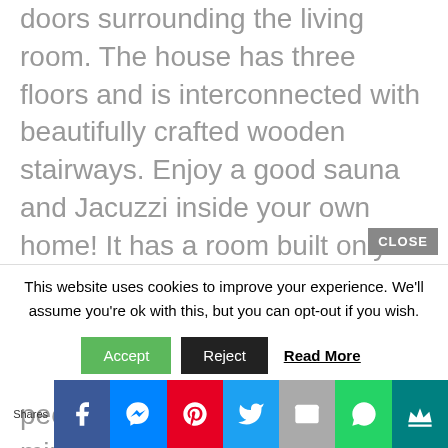doors surrounding the living room. The house has three floors and is interconnected with beautifully crafted wooden stairways. Enjoy a good sauna and Jacuzzi inside your own home! It has a room built only for that–comfort within reach indeed.
The idea of the design is for people who would love minimalist but multi-functional
This website uses cookies to improve your experience. We'll assume you're ok with this, but you can opt-out if you wish.
Accept  Reject  Read More
[Figure (other): Social share bar with icons for Facebook, Messenger, Pinterest, Twitter, Email, WhatsApp, and Crown/Flipboard. Label 'Shares' on the left.]